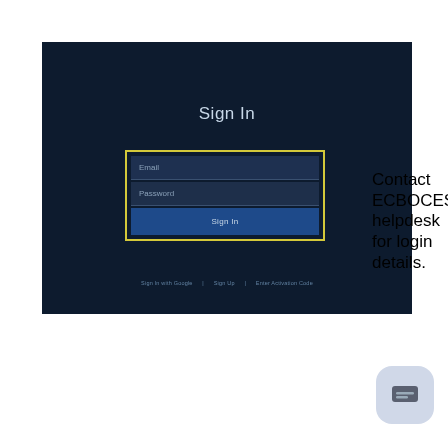[Figure (screenshot): A dark-themed web application sign-in page screenshot. Shows 'Sign In' heading in light text, a form with Email and Password fields highlighted with a yellow border, a 'Sign In' button in blue, and footer links: 'Sign In with Google | Sign Up | Enter Activation Code'.]
Contact ECBOCES helpdesk for login details.